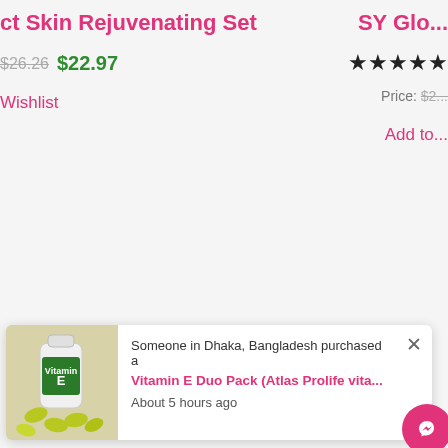ct Skin Rejuvenating Set
$26.26 $22.97
Wishlist
SY Glo...
★★★★☆
Price: $2...
Add to...
[Figure (screenshot): Popup notification showing a product purchase: Someone in Dhaka, Bangladesh purchased a Vitamin E Duo Pack (Atlas Prolife vita... About 5 hours ago. Includes product image of Vitamin E capsules and a pink messenger chat button.]